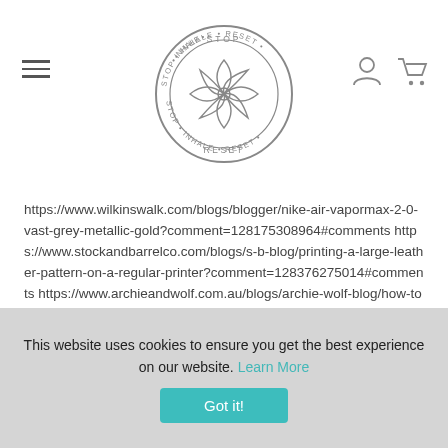[Figure (logo): Circular logo with text STOP INHALE RESET and a floral/mandala design in the center, drawn in gray outline style]
https://www.wilkinswalk.com/blogs/blogger/nike-air-vapormax-2-0-vast-grey-metallic-gold?comment=128175308964#comments https://www.stockandbarrelco.com/blogs/s-b-blog/printing-a-large-leather-pattern-on-a-regular-printer?comment=128376275014#comments https://www.archieandwolf.com.au/blogs/archie-wolf-blog/how-to-stay-leann-with-laura-halls?comment=125515497669#comments https://tournaments.spikeball.com/blogs/the-rally/sra-2019-nationals-pro-division-power-rankings?comment=128241598640#comments https://www.gardensundials.com/blogs/news/antique-wood-plinths-for-sundials?comment=130223112281#comments
This website uses cookies to ensure you get the best experience on our website. Learn More